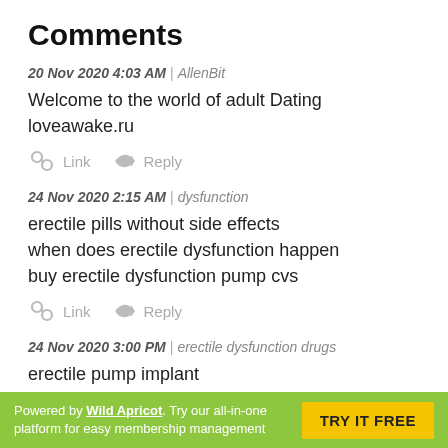Comments
20 Nov 2020 4:03 AM | AllenBit
Welcome to the world of adult Dating loveawake.ru
Link   Reply
24 Nov 2020 2:15 AM | dysfunction
erectile pills without side effects
when does erectile dysfunction happen
buy erectile dysfunction pump cvs
Link   Reply
24 Nov 2020 3:00 PM | erectile dysfunction drugs
erectile pump implant
best erectile dysfunction natural remedies
Powered by Wild Apricot. Try our all-in-one platform for easy membership management   TRY IT FREE